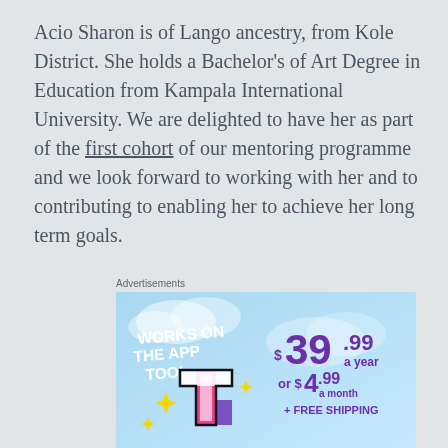Acio Sharon is of Lango ancestry, from Kole District. She holds a Bachelor's of Art Degree in Education from Kampala International University. We are delighted to have her as part of the first cohort of our mentoring programme and we look forward to working with her and to contributing to enabling her to achieve her long term goals.
Advertisements
[Figure (infographic): Advertisement banner with blue sky background. Left side shows stylized letter 't' logo in pink/purple with yellow sparkles. Text reads 'WORKS ON THE APP TOO!' in white bold. Right side shows pricing: $39.99 a year or $4.99 a month + FREE SHIPPING in purple text.]